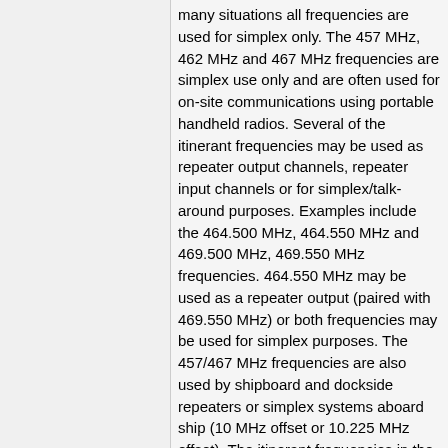many situations all frequencies are used for simplex only. The 457 MHz, 462 MHz and 467 MHz frequencies are simplex use only and are often used for on-site communications using portable handheld radios. Several of the itinerant frequencies may be used as repeater output channels, repeater input channels or for simplex/talk-around purposes. Examples include the 464.500 MHz, 464.550 MHz and 469.500 MHz, 469.550 MHz frequencies. 464.550 MHz may be used as a repeater output (paired with 469.550 MHz) or both frequencies may be used for simplex purposes. The 457/467 MHz frequencies are also used by shipboard and dockside repeaters or simplex systems aboard ship (10 MHz offset or 10.225 MHz offset). The itinerant frequencies in the VHF bands do not have a set pairing or offset like the UHF bands do.
The default channels / frequencies for most job site / contractor / construction site crews will vary. Many crews use FRS, MURS or CB for on-site communications, especially if multiple